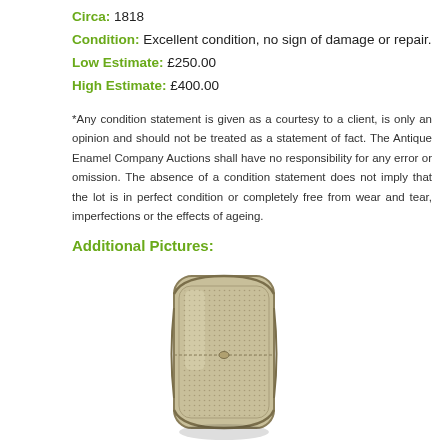Circa: 1818
Condition: Excellent condition, no sign of damage or repair.
Low Estimate: £250.00
High Estimate: £400.00
*Any condition statement is given as a courtesy to a client, is only an opinion and should not be treated as a statement of fact. The Antique Enamel Company Auctions shall have no responsibility for any error or omission. The absence of a condition statement does not imply that the lot is in perfect condition or completely free from wear and tear, imperfections or the effects of ageing.
Additional Pictures:
[Figure (photo): Antique silver engraved vinaigrette or card case, rectangular with rounded corners, ornate border decoration, textured surface with dot/engine-turned pattern, viewed from the front]